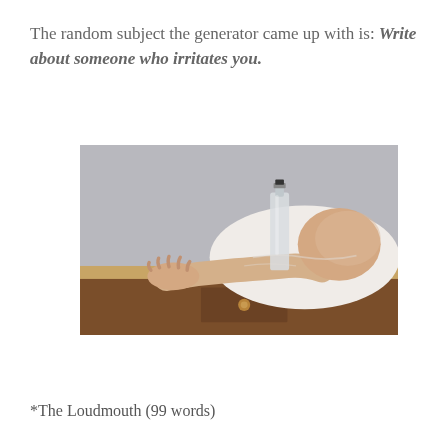The random subject the generator came up with is: Write about someone who irritates you.
[Figure (photo): A person slumped face-down on a wooden desk with arms outstretched, head resting on their arms. A clear glass bottle stands behind them on the desk. The person wears a white shirt. The background is grey.]
*The Loudmouth (99 words)